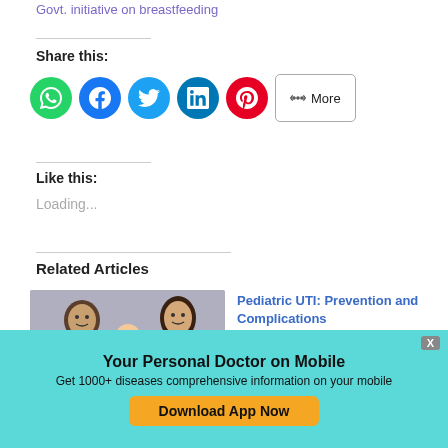Govt. initiative on breastfeeding
Share this:
[Figure (other): Social share buttons: WhatsApp (green), Facebook (blue), Twitter (light blue), LinkedIn (dark blue), Pinterest (red), and a More button]
Like this:
Loading...
Related Articles
[Figure (photo): Photo of a man and woman looking at a baby]
Pediatric UTI: Prevention and Complications
Pediatric UTI - Prevention -
Your Personal Doctor on Mobile
Get 1000+ diseases comprehensive information on your mobile
Download App Now